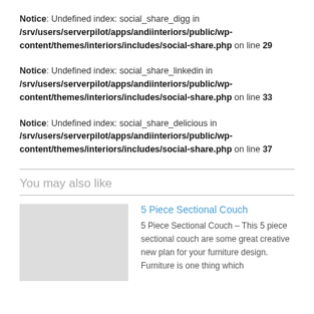Notice: Undefined index: social_share_digg in /srv/users/serverpilot/apps/andiinteriors/public/wp-content/themes/interiors/includes/social-share.php on line 29
Notice: Undefined index: social_share_linkedin in /srv/users/serverpilot/apps/andiinteriors/public/wp-content/themes/interiors/includes/social-share.php on line 33
Notice: Undefined index: social_share_delicious in /srv/users/serverpilot/apps/andiinteriors/public/wp-content/themes/interiors/includes/social-share.php on line 37
You may also like
5 Piece Sectional Couch
5 Piece Sectional Couch – This 5 piece sectional couch are some great creative new plan for your furniture design. Furniture is one thing which